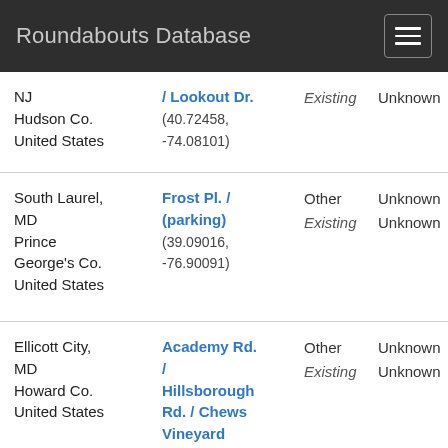Roundabouts Database
| Location | Name / Coordinates | Status | Unknown | Details |
| --- | --- | --- | --- | --- |
| NJ
Hudson Co.
United States | / Lookout Dr.
(40.72458, -74.08101) | Existing | Unknown | 0 Dri
0.00 |
| South Laurel, MD
Prince George's Co.
United States | Frost Pl. / (parking)
(39.09016, -76.90091) | Other
Existing | Unknown
Unknown | 2 App
1 Dri
0.00 |
| Ellicott City, MD
Howard Co.
United States | Academy Rd. / Hillsborough Rd. / Chews Vineyard
(39.24993, -76.78913) | Other
Existing | Unknown
Unknown | 4 App
0 Dri
0.00 |
| Columbia, | Vantage | Other | Unknown | 3 App |